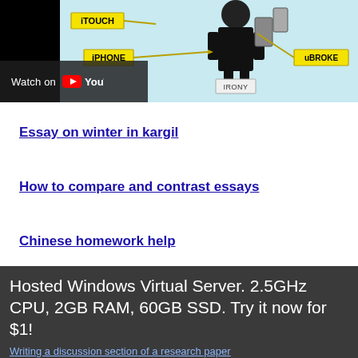[Figure (screenshot): Cartoon/illustration showing a person with labels: iTOUCH, iPhone, uBROKE, IRONY, with a YouTube 'Watch on YouTube' overlay on the bottom-left of the image.]
Essay on winter in kargil
How to compare and contrast essays
Chinese homework help
Hosted Windows Virtual Server. 2.5GHz CPU, 2GB RAM, 60GB SSD. Try it now for $1!
Writing a discussion section of a research paper